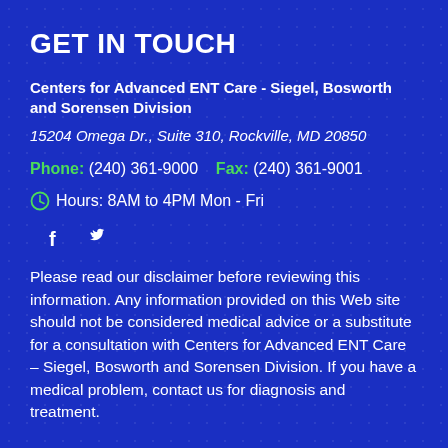GET IN TOUCH
Centers for Advanced ENT Care - Siegel, Bosworth and Sorensen Division
15204 Omega Dr., Suite 310, Rockville, MD 20850
Phone: (240) 361-9000   Fax: (240) 361-9001
Hours: 8AM to 4PM Mon - Fri
[Figure (illustration): Facebook and Twitter social media icons]
Please read our disclaimer before reviewing this information. Any information provided on this Web site should not be considered medical advice or a substitute for a consultation with Centers for Advanced ENT Care – Siegel, Bosworth and Sorensen Division. If you have a medical problem, contact us for diagnosis and treatment.